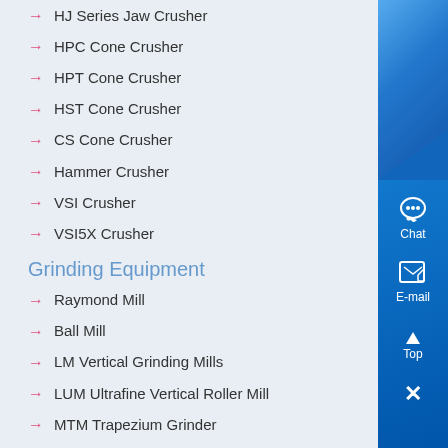HJ Series Jaw Crusher
HPC Cone Crusher
HPT Cone Crusher
HST Cone Crusher
CS Cone Crusher
Hammer Crusher
VSI Crusher
VSI5X Crusher
Grinding Equipment
Raymond Mill
Ball Mill
LM Vertical Grinding Mills
LUM Ultrafine Vertical Roller Mill
MTM Trapezium Grinder
[Figure (screenshot): Blue gradient sidebar with Chat icon (headphones), E-mail icon (document/pen), Top button (triangle up), and Close button (X)]